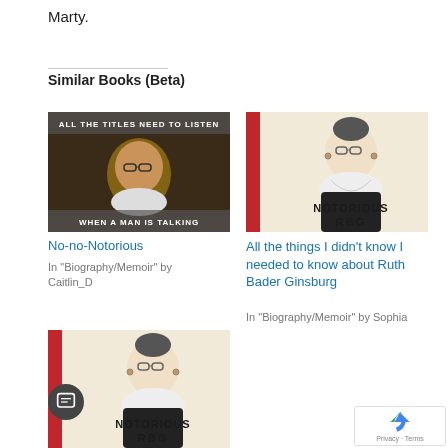Marty.
Similar Books (Beta)
[Figure (photo): Book cover: 'All the titles need to listen / When a man is talking' - shows a photo of Ruth Bader Ginsburg with glasses and lace collar, dark background. No-no-Notorious meme style.]
No-no-Notorious
In "Biography/Memoir" by Caitlin_D
[Figure (photo): Book cover: 'Notorious RBG' - illustration of Ruth Bader Ginsburg on cream background with red stripe on left side.]
All the things I didn't know I needed to know about Ruth Bader Ginsburg
In "Biography/Memoir" by Sophia
[Figure (photo): Book cover: 'Notorious RBG' - illustration of Ruth Bader Ginsburg on cream background with red stripe on left side. Same as second cover.]